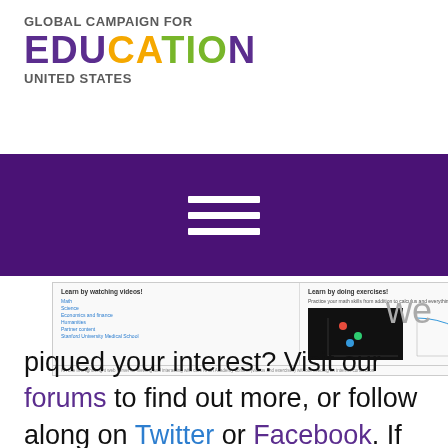[Figure (logo): Global Campaign for Education United States logo with multi-colored letters]
[Figure (screenshot): Purple navigation bar with hamburger menu icon (three white horizontal lines)]
[Figure (screenshot): Screenshot of Khan Academy Lite interface showing 'Learn by watching videos!' and 'Learn by doing exercises!' sections with subject links and a dark image]
piqued your interest? Visit our forums to find out more, or follow along on Twitter or Facebook. If you're interested in getting involved with our mission, shoot us an